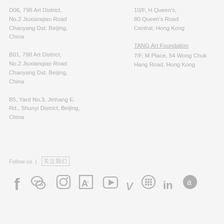D06, 798 Art District,
No.2 Jiuxianqiao Road
Chaoyang Dst. Beijing,
China
10/F, H Queen's,
80 Queen's Road
Central, Hong Kong
B01, 798 Art District,
No.2 Jiuxianqiao Road
Chaoyang Dst. Beijing,
China
TANG Art Foundation
7/F, M Place, 54 Wong Chuk
Hang Road, Hong Kong
B5, Yard No.3, Jinhang E.
Rd., Shunyi District, Beijing,
China
Follow us | 关注我们
[Figure (infographic): Social media icons row: Facebook, WeChat, Instagram, Artsy (A), YouTube, Vimeo, Artworks (circle grid), LinkedIn, Artsy (circle a)]